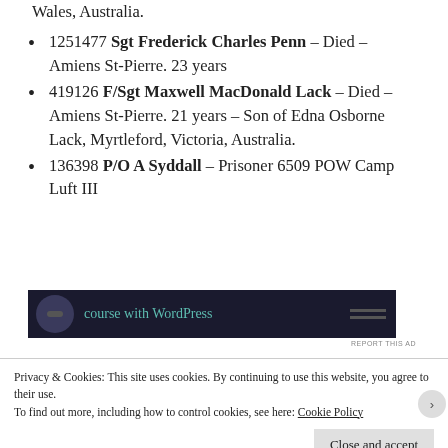Wales, Australia.
1251477 Sgt Frederick Charles Penn – Died – Amiens St-Pierre. 23 years
419126 F/Sgt Maxwell MacDonald Lack – Died – Amiens St-Pierre. 21 years – Son of Edna Osborne Lack, Myrtleford, Victoria, Australia.
136398 P/O A Syddall – Prisoner 6509 POW Camp Luft III
[Figure (screenshot): Dark advertisement banner for a WordPress course with teal text reading 'course with WordPress' and a circular icon on the left, horizontal lines on the right.]
REPORT THIS AD
Privacy & Cookies: This site uses cookies. By continuing to use this website, you agree to their use.
To find out more, including how to control cookies, see here: Cookie Policy
Close and accept